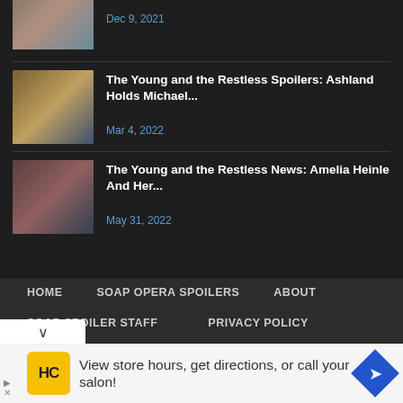[Figure (photo): Partially visible thumbnail photo at top of page]
Dec 9, 2021
[Figure (photo): Photo of a blonde woman for Young and Restless article]
The Young and the Restless Spoilers: Ashland Holds Michael...
Mar 4, 2022
[Figure (photo): Photo of a brunette woman for Young and Restless news article]
The Young and the Restless News: Amelia Heinle And Her...
May 31, 2022
HOME  SOAP OPERA SPOILERS  ABOUT  SOAP SPOILER STAFF  PRIVACY POLICY
[Figure (advertisement): Ad banner: HC logo, text 'View store hours, get directions, or call your salon!']